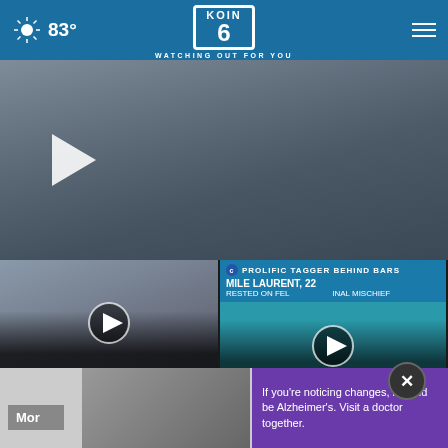83° KOIN 6 WATCHING OUT FOR YOU
[Figure (screenshot): Video thumbnail showing a man in a suit jacket, blurred close-up face, with a large white play button on the left side]
[Figure (screenshot): Thumbnail: New details emerge on Rep. Hieb's arrest, 1 hour ago, with circular play button]
New details emerge on Rep. Hieb's arrest
1 hour ago
[Figure (screenshot): Thumbnail: Portland 'prolific tagger' wanted on... with CBS breaking news banner showing MILE LAURENT, 22, ARRESTED ON FELONY CRIMINAL MISCHIEF, circular play button]
Portland 'prolific tagger' wanted on...
1 hour ago
[Figure (screenshot): Partial thumbnail: Man fo... woun... (partially visible third news story)]
Man fo... woun...
[Figure (screenshot): Advertisement banner: If you're noticing changes, it could be Alzheimer's. Visit a doctor together.]
Mor
If you're noticing changes, it could be Alzheimer's. Visit a doctor together.